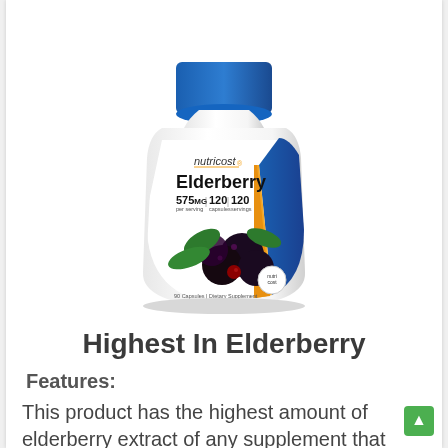[Figure (photo): Nutricost Elderberry supplement bottle with blue cap, white body with blue and orange label. Label shows: nutricost, Elderberry, 575MG per serving, 120 capsules, 120 servings. Features elderberry fruit and leaf imagery. Text at bottom: 90 Capsules | Dietary Supplement.]
Highest In Elderberry
Features:
This product has the highest amount of elderberry extract of any supplement that